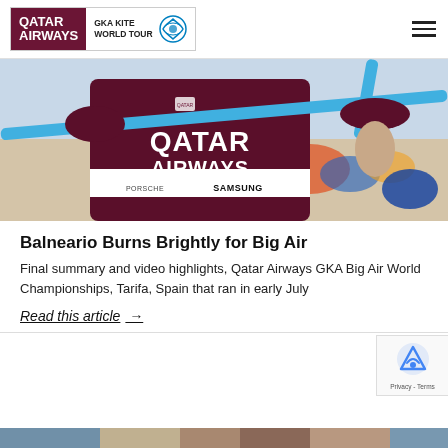QATAR AIRWAYS GKA KITE WORLD TOUR
[Figure (photo): A person in a dark maroon Qatar Airways kitesurfing competition suit gripping a kitesurfing bar with blue lines, with Samsung and Porsche sponsor logos visible, on a beach with colorful kites in the background.]
Balneario Burns Brightly for Big Air
Final summary and video highlights, Qatar Airways GKA Big Air World Championships, Tarifa, Spain that ran in early July
Read this article →
[Figure (photo): Partial bottom strip showing a colorful kitesurfing event scene.]